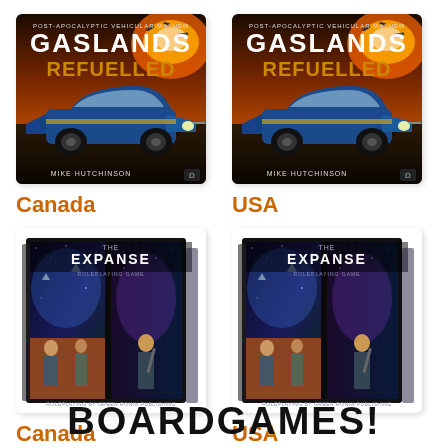[Figure (photo): Book cover for Gaslands Refuelled by Mike Hutchinson - post-apocalyptic vehicular mayhem, showing a blue muscle car with fire and explosions. Canada link.]
Canada
[Figure (photo): Book cover for Gaslands Refuelled by Mike Hutchinson - same cover as left. USA link.]
USA
[Figure (photo): Book cover for The Expanse Roleplaying Game showing sci-fi characters and space imagery, displayed as a book/box set. Canada link.]
Canada
[Figure (photo): Book cover for The Expanse Roleplaying Game - same cover as left. USA link.]
USA
BOARDGAMES!